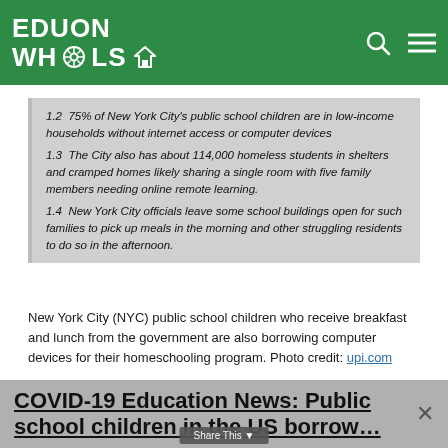EDUON WHOOLS
1.2  75% of New York City’s public school children are in low-income households without internet access or computer devices
1.3  The City also has about 114,000 homeless students in shelters and cramped homes likely sharing a single room with five family members needing online remote learning.
1.4  New York City officials leave some school buildings open for such families to pick up meals in the morning and other struggling residents to do so in the afternoon.
New York City (NYC) public school children who receive breakfast and lunch from the government are also borrowing computer devices for their homeschooling program. Photo credit: upi.com
COVID-19 Education News: Public school children in the US borrow…